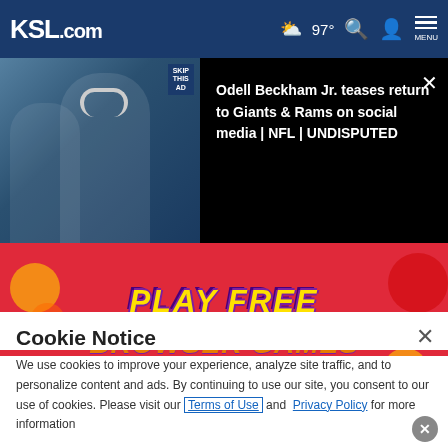KSL.com | 97° | MENU
[Figure (screenshot): Video thumbnail showing Odell Beckham Jr. with text 'Odell Beckham Jr. teases return to Giants & Rams on social media | NFL | UNDISPUTED']
[Figure (photo): Advertisement banner showing 'PLAY FREE BROWSER GAMES' on red background]
Cookie Notice
We use cookies to improve your experience, analyze site traffic, and to personalize content and ads. By continuing to use our site, you consent to our use of cookies. Please visit our Terms of Use and Privacy Policy for more information.